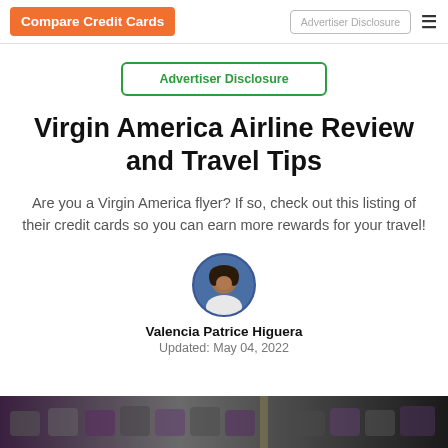Compare Credit Cards | Advertiser Disclosure
Advertiser Disclosure
Virgin America Airline Review and Travel Tips
Are you a Virgin America flyer? If so, check out this listing of their credit cards so you can earn more rewards for your travel!
Valencia Patrice Higuera
Updated: May 04, 2022
[Figure (photo): Bottom strip photo of airplane interior or travel scene, dark purple and grey tones]